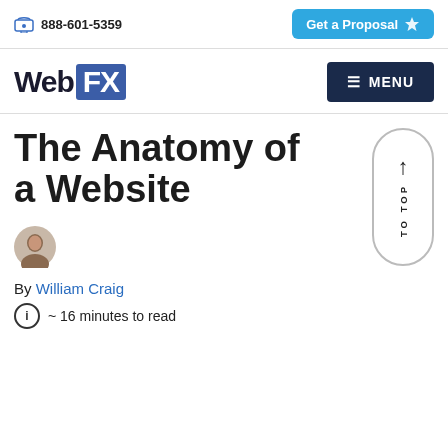888-601-5359  |  Get a Proposal
[Figure (logo): WebFX logo with Web in dark text and FX in white on blue background, MENU button on right]
The Anatomy of a Website
By William Craig
~ 16 minutes to read